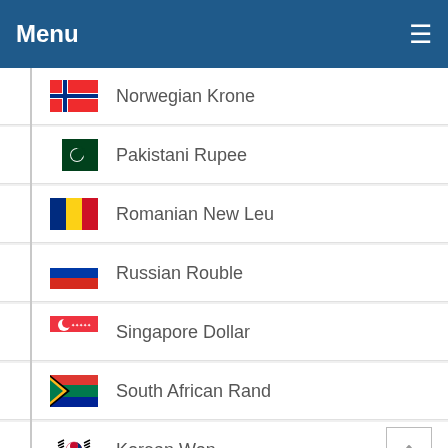Menu
Norwegian Krone
Pakistani Rupee
Romanian New Leu
Russian Rouble
Singapore Dollar
South African Rand
Korean Won
Swiss Franc